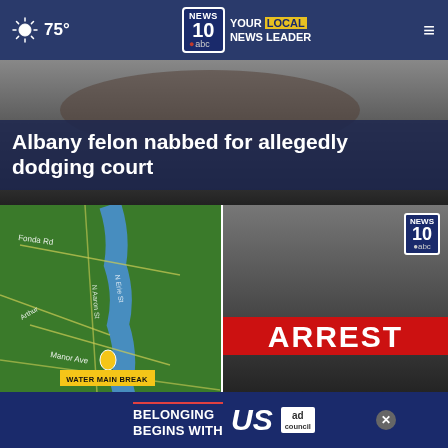75° | NEWS 10 abc YOUR LOCAL NEWS LEADER
[Figure (photo): Dark photo of a person partially visible, used as background for hero story about Albany felon]
Albany felon nabbed for allegedly dodging court
[Figure (map): Green street map showing Fonda Rd, Manor Ave, Arthur Ave area with water main break marker and WATER MAIN BREAK banner]
Crews work to repair water main break in Col...
[Figure (screenshot): News 10 ABC arrest graphic with red ARREST banner and News 10 ABC logo overlay, dark background]
Police: Hyde Park woman had Fentanyl on...
[Figure (infographic): Ad Council banner: BELONGING BEGINS WITH US advertisement with close button]